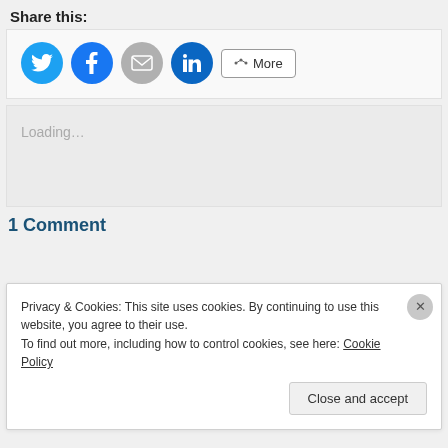Share this:
[Figure (infographic): Social share buttons: Twitter (cyan circle), Facebook (blue circle), Email (grey circle), LinkedIn (dark blue circle), and a More button with share icon]
Loading…
1 Comment
Privacy & Cookies: This site uses cookies. By continuing to use this website, you agree to their use.
To find out more, including how to control cookies, see here: Cookie Policy
Close and accept